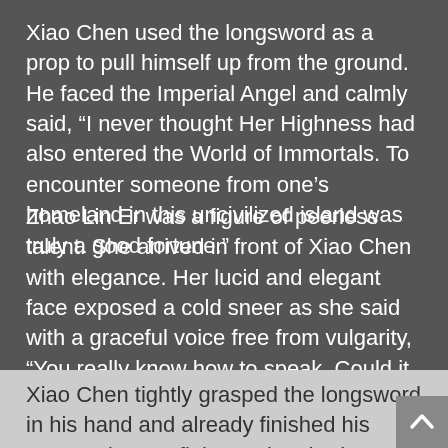Xiao Chen used the longsword as a prop to pull himself up from the ground. He faced the Imperial Angel and calmly said, “I never thought Her Highness had also entered the World of Immortals. To encounter someone from one’s homeland in this uncivilized island was truly a good fortune.”
Zhao Lin Er was a figure of peerless talent. She arrived in front of Xiao Chen with elegance. Her lucid and elegant face exposed a cold sneer as she said with a graceful voice free from vulgarity, “You really know how to speak. Could it be that you want me to cherish the feeling of my native country and not kill you? Do not forget how we got here in the first place!”
Xiao Chen tightly grasped the longsword in his hand and already finished his preparations to fight. He laughed helplessly as he said, “Entering the World of Immortals can also be considered a kind of fate. Since the ancient times,